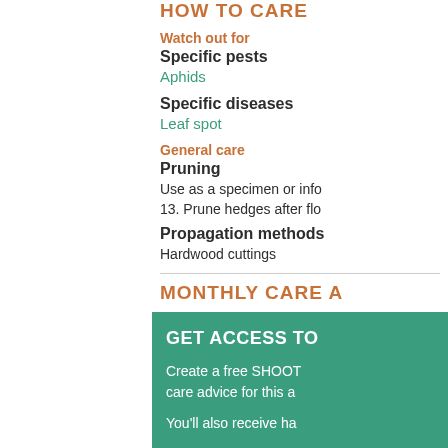HOW TO CARE
Watch out for
Specific pests
Aphids
Specific diseases
Leaf spot
General care
Pruning
Use as a specimen or info... 13. Prune hedges after flo...
Propagation methods
Hardwood cuttings
MONTHLY CARE A
GET ACCESS TO
Create a free SHOOT account to get care advice for this a...
You'll also receive ha...